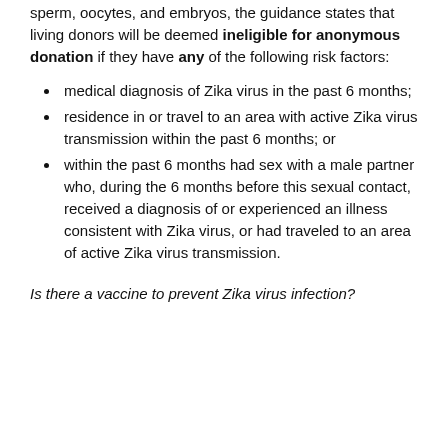sperm, oocytes, and embryos, the guidance states that living donors will be deemed ineligible for anonymous donation if they have any of the following risk factors:
medical diagnosis of Zika virus in the past 6 months;
residence in or travel to an area with active Zika virus transmission within the past 6 months; or
within the past 6 months had sex with a male partner who, during the 6 months before this sexual contact, received a diagnosis of or experienced an illness consistent with Zika virus, or had traveled to an area of active Zika virus transmission.
Is there a vaccine to prevent Zika virus infection?